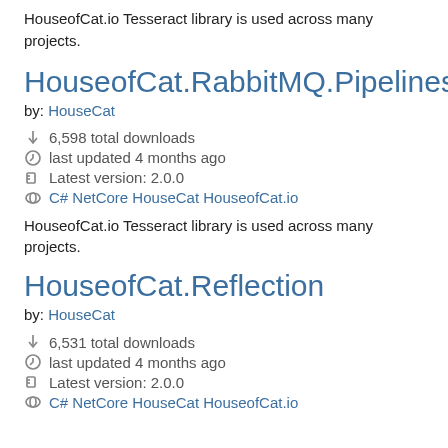HouseofCat.io Tesseract library is used across many projects.
HouseofCat.RabbitMQ.Pipelines
by: HouseCat
6,598 total downloads
last updated 4 months ago
Latest version: 2.0.0
C# NetCore HouseCat HouseofCat.io
HouseofCat.io Tesseract library is used across many projects.
HouseofCat.Reflection
by: HouseCat
6,531 total downloads
last updated 4 months ago
Latest version: 2.0.0
C# NetCore HouseCat HouseofCat.io